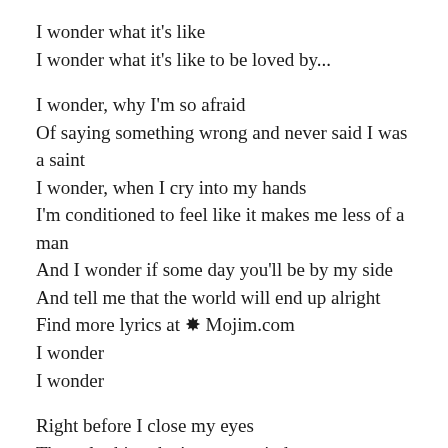I wonder what it's like
I wonder what it's like to be loved by...
I wonder, why I'm so afraid
Of saying something wrong and never said I was a saint
I wonder, when I cry into my hands
I'm conditioned to feel like it makes me less of a man
And I wonder if some day you'll be by my side
And tell me that the world will end up alright
Find more lyrics at ❊ Mojim.com
I wonder
I wonder
Right before I close my eyes
The only thing that's on my mind
Been dreaming that you feel it too
I wonder what it's like to be loved by you
Un...